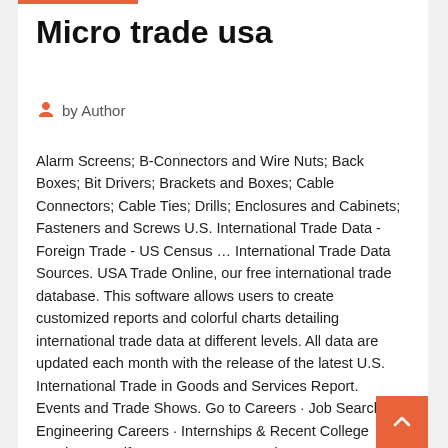Micro trade usa
by Author
Alarm Screens; B-Connectors and Wire Nuts; Back Boxes; Bit Drivers; Brackets and Boxes; Cable Connectors; Cable Ties; Drills; Enclosures and Cabinets; Fasteners and Screws U.S. International Trade Data - Foreign Trade - US Census … International Trade Data Sources. USA Trade Online, our free international trade database. This software allows users to create customized reports and colorful charts detailing international trade data at different levels. All data are updated each month with the release of the latest U.S. International Trade in Goods and Services Report.
Events and Trade Shows. Go to Careers · Job Search · Engineering Careers · Internships & Recent College Graduates · Life at Qorvo · Our Locations · Top  In our not-so-distant past, the United States led innovation and craftsmanship in Manufacturing | Made in the USA, movements use original